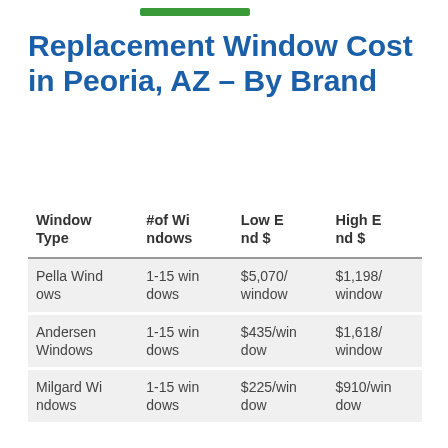Replacement Window Cost in Peoria, AZ – By Brand
| Window Type | #of Windows | Low End $ | High End $ |
| --- | --- | --- | --- |
| Pella Windows | 1-15 windows | $5,070/window | $1,198/window |
| Andersen Windows | 1-15 windows | $435/window | $1,618/window |
| Milgard Windows | 1-15 windows | $225/window | $910/window |